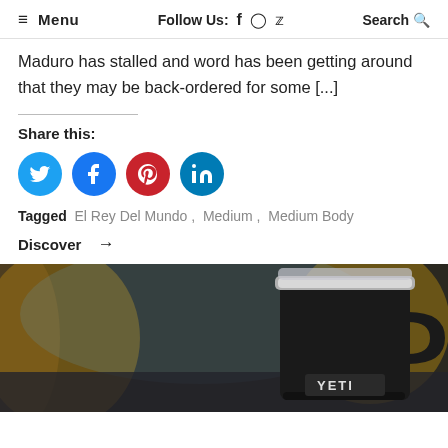≡ Menu   Follow Us: f  🔵  🐦   Search 🔍
Maduro has stalled and word has been getting around that they may be back-ordered for some [...]
Share this:
[Figure (infographic): Four social media share buttons: Twitter (blue), Facebook (blue), Pinterest (red), LinkedIn (teal)]
Tagged  El Rey Del Mundo ,  Medium ,  Medium Body
Discover →
[Figure (photo): A black YETI branded insulated travel mug with a silver and clear lid, photographed on a table with a blurred background of warm yellow and blue tones.]